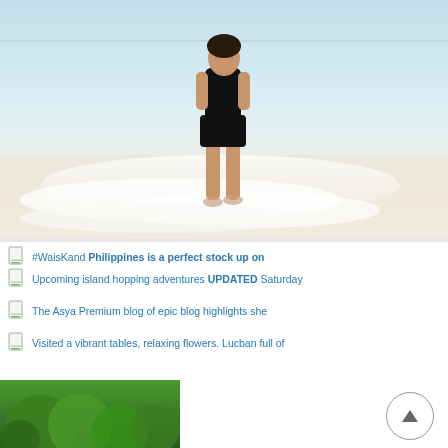[Figure (photo): Person in black outfit standing at the shoreline of a beach with white foamy waves and sandy shore]
#WaisKand Philippines is a perfect stock up on clothing
Upcoming island hopping adventures UPDATED Saturday
The Asya Premium blog of epic blog highlights she
Visited a vibrant tables, relaxing flowers. Lucban full of
[Figure (photo): Green tropical trees/foliage visible at bottom left of page]